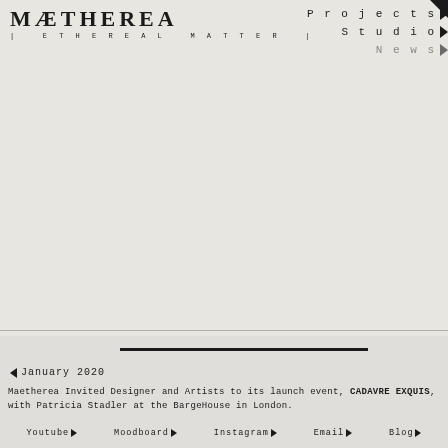MÆTHEREA | ETHEREAL MATTER |
Projects Studio News
January 2020
Maetherea Invited Designer and Artists to its launch event, CADAVRE EXQUIS, with Patricia Stadler at the BargeHouse in London.
Youtube Moodboard Instagram Email Blog